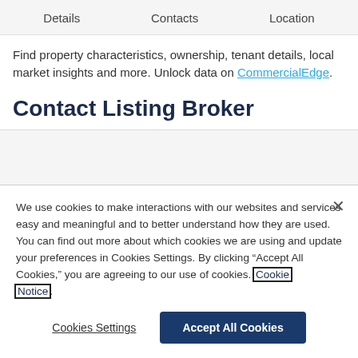Details   Contacts   Location
Find property characteristics, ownership, tenant details, local market insights and more. Unlock data on CommercialEdge.
Contact Listing Broker
We use cookies to make interactions with our websites and services easy and meaningful and to better understand how they are used. You can find out more about which cookies we are using and update your preferences in Cookies Settings. By clicking “Accept All Cookies,” you are agreeing to our use of cookies. Cookie Notice.
Cookies Settings   Accept All Cookies